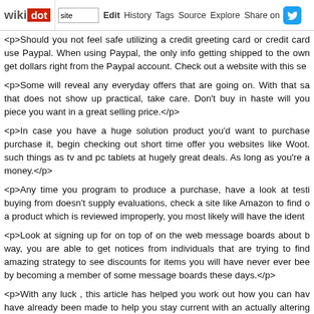wikidot | site | Edit | History | Tags | Source | Explore | Share on Twitter
<p>Should you not feel safe utilizing a credit greeting card or credit card, use Paypal. When using Paypal, the only info getting shipped to the owner is get dollars right from the Paypal account. Check out a website with this se
<p>Some will reveal any everyday offers that are going on. With that sa that does not show up practical, take care. Don't buy in haste will you piece you want in a great selling price.</p>
<p>In case you have a huge solution product you'd want to purchase purchase it, begin checking out short time offer you websites like Woot. such things as tv and pc tablets at hugely great deals. As long as you're a money.</p>
<p>Any time you program to produce a purchase, have a look at testi buying from doesn't supply evaluations, check a site like Amazon to find o a product which is reviewed improperly, you most likely will have the ident
<p>Look at signing up for on top of on the web message boards about b way, you are able to get notices from individuals that are trying to find amazing strategy to see discounts for items you will have never ever bee by becoming a member of some message boards these days.</p>
<p>With any luck , this article has helped you work out how you can hav have already been made to help you stay current with an actually altering pleasure in the advantages of these modifications, and be sure you know </p> - Comments: 0
Extra On your Efforts With Social Media Marketin